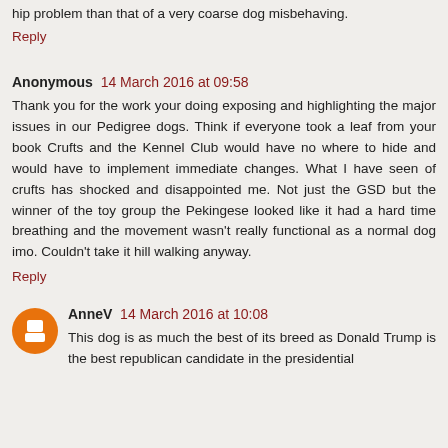hip problem than that of a very coarse dog misbehaving.
Reply
Anonymous 14 March 2016 at 09:58
Thank you for the work your doing exposing and highlighting the major issues in our Pedigree dogs. Think if everyone took a leaf from your book Crufts and the Kennel Club would have no where to hide and would have to implement immediate changes. What I have seen of crufts has shocked and disappointed me. Not just the GSD but the winner of the toy group the Pekingese looked like it had a hard time breathing and the movement wasn't really functional as a normal dog imo. Couldn't take it hill walking anyway.
Reply
AnneV 14 March 2016 at 10:08
This dog is as much the best of its breed as Donald Trump is the best republican candidate in the presidential